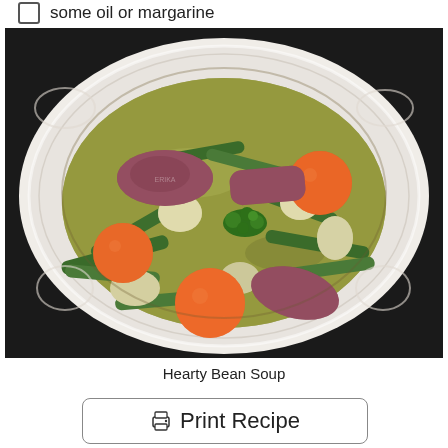some oil or margarine
[Figure (photo): A white decorative bowl filled with hearty bean soup containing green beans, sliced carrots, potatoes, and pieces of smoked sausage/meat in a green-tinted broth, garnished with fresh parsley.]
Hearty Bean Soup
Print Recipe